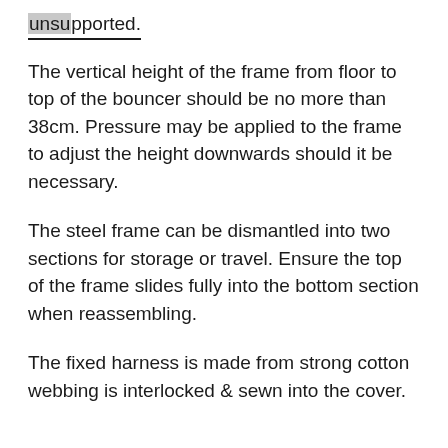suitable from birth until your baby is able to sit up unsupported.
The vertical height of the frame from floor to top of the bouncer should be no more than 38cm. Pressure may be applied to the frame to adjust the height downwards should it be necessary.
The steel frame can be dismantled into two sections for storage or travel. Ensure the top of the frame slides fully into the bottom section when reassembling.
The fixed harness is made from strong cotton webbing is interlocked & sewn into the cover.